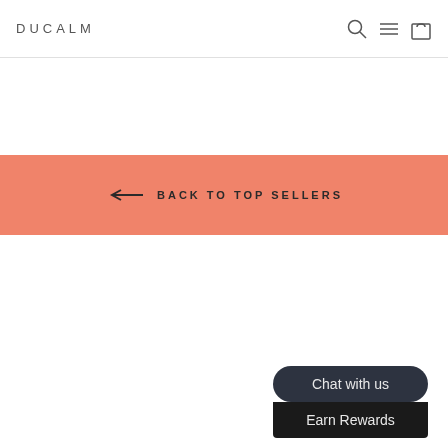DUCALM
← BACK TO TOP SELLERS
Chat with us
Earn Rewards